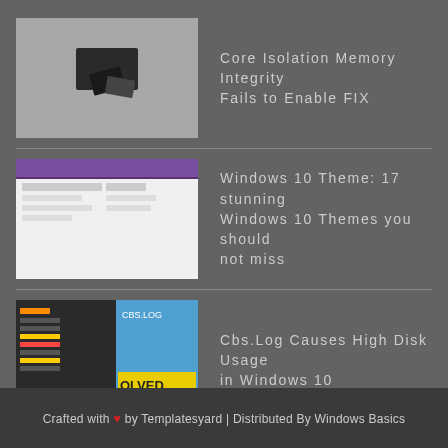Core Isolation Memory Integrity Fails to Enable FIX
Windows 10 Theme: 17 stunning Windows 10 Themes you should not miss
Cbs.Log Causes High Disk Usage in Windows 10
Startupchecklibrary.dll Missing In Windows 10 FIX
Crafted with ♥ by Templatesyard | Distributed By Windows Basics